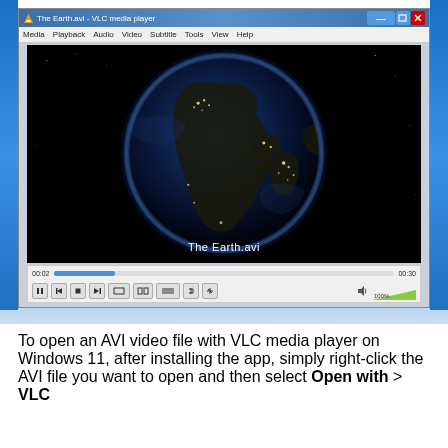[Figure (screenshot): VLC media player window playing 'The Earth.avi' on Windows 11. The video shows Earth from space at night with city lights visible. The player shows a timeline at 00:02 out of 00:30, with playback controls and volume at 100%.]
To open an AVI video file with VLC media player on Windows 11, after installing the app, simply right-click the AVI file you want to open and then select Open with > VLC